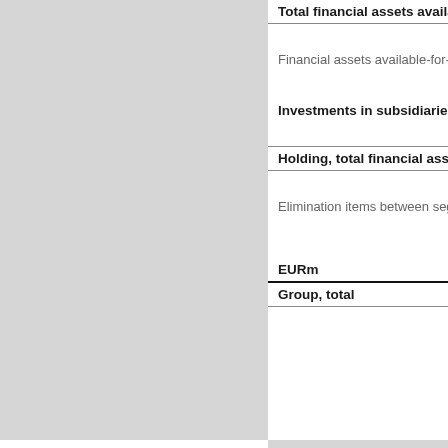Total financial assets available-fo
Financial assets available-for-sale fo
Investments in subsidiaries
Holding, total financial assets
Elimination items between segmen
EURm
Group, total